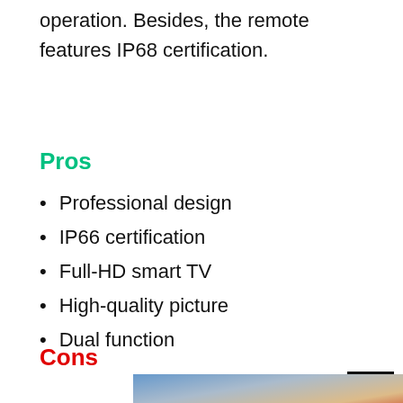operation. Besides, the remote features IP68 certification.
Pros
Professional design
IP66 certification
Full-HD smart TV
High-quality picture
Dual function
Cons
[Figure (photo): Advertisement image showing an airplane being loaded with cargo, with a banner reading 'WITHOUT REGARD TO POLITICS, RELIGION, OR ABILITY TO PAY']